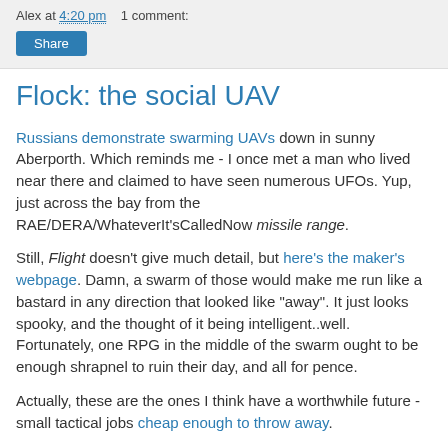Alex at 4:20 pm    1 comment:
Flock: the social UAV
Russians demonstrate swarming UAVs down in sunny Aberporth. Which reminds me - I once met a man who lived near there and claimed to have seen numerous UFOs. Yup, just across the bay from the RAE/DERA/WhateverIt'sCalledNow missile range.
Still, Flight doesn't give much detail, but here's the maker's webpage. Damn, a swarm of those would make me run like a bastard in any direction that looked like "away". It just looks spooky, and the thought of it being intelligent..well. Fortunately, one RPG in the middle of the swarm ought to be enough shrapnel to ruin their day, and all for pence.
Actually, these are the ones I think have a worthwhile future - small tactical jobs cheap enough to throw away.